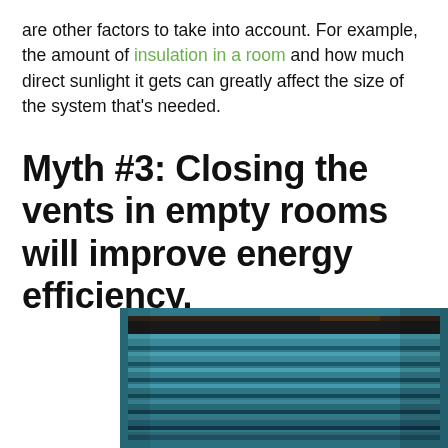are other factors to take into account. For example, the amount of insulation in a room and how much direct sunlight it gets can greatly affect the size of the system that's needed.
Myth #3: Closing the vents in empty rooms will improve energy efficiency.
[Figure (photo): Close-up photo of a teal/blue painted metal air vent with horizontal louvered slats, photographed from a low angle showing the slats receding into darkness.]